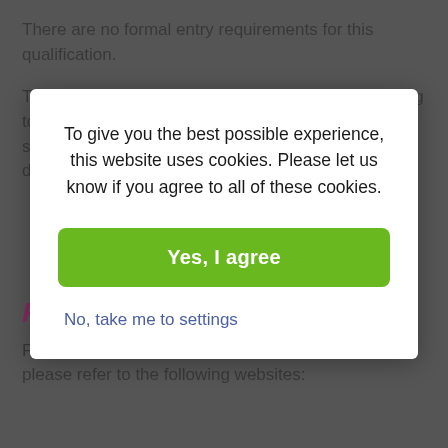There are no formal entry requirements for this qualification.
This qualification is suitable for those who are looking to work in a business administration role in range of sectors. It provides learners with an opportunity to demonstrate their readiness to move
[Figure (photo): A row of binders or folders stacked together, viewed from the side.]
FUNDING
For details on eligibility for government funding please refer to the following websites:
To give you the best possible experience, this website uses cookies. Please let us know if you agree to all of these cookies.